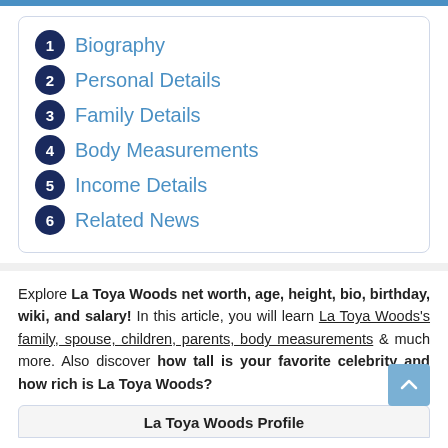1 Biography
2 Personal Details
3 Family Details
4 Body Measurements
5 Income Details
6 Related News
Explore La Toya Woods net worth, age, height, bio, birthday, wiki, and salary! In this article, you will learn La Toya Woods's family, spouse, children, parents, body measurements & much more. Also discover how tall is your favorite celebrity and how rich is La Toya Woods?
La Toya Woods Profile